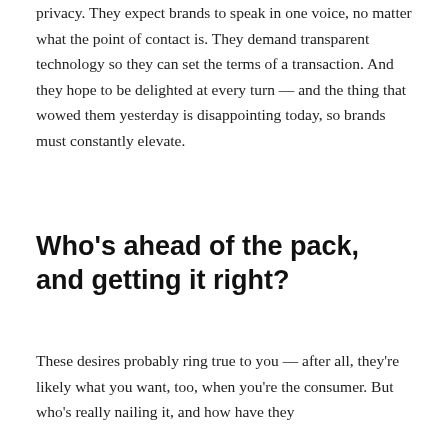privacy. They expect brands to speak in one voice, no matter what the point of contact is. They demand transparent technology so they can set the terms of a transaction. And they hope to be delighted at every turn — and the thing that wowed them yesterday is disappointing today, so brands must constantly elevate.
Who's ahead of the pack, and getting it right?
These desires probably ring true to you — after all, they're likely what you want, too, when you're the consumer. But who's really nailing it, and how have they